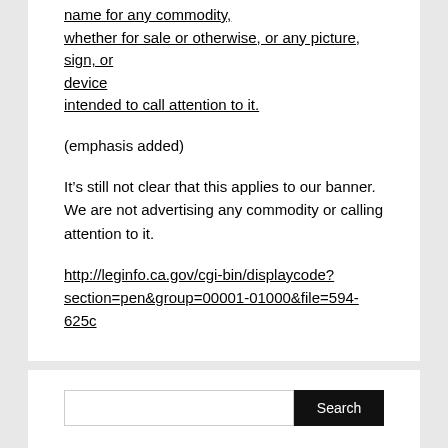name for any commodity, whether for sale or otherwise, or any picture, sign, or device intended to call attention to it.
(emphasis added)
It’s still not clear that this applies to our banner. We are not advertising any commodity or calling attention to it.
http://leginfo.ca.gov/cgi-bin/displaycode?section=pen&group=00001-01000&file=594-625c